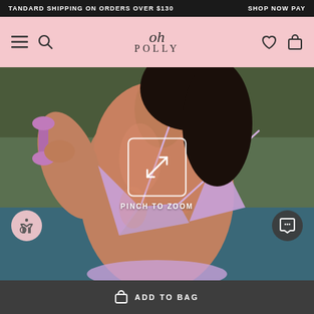STANDARD SHIPPING ON ORDERS OVER $130   SHOP NOW PAY
[Figure (logo): Oh Polly brand logo with cursive 'oh' and spaced 'POLLY' text on pink navigation bar with hamburger menu, search, heart, and bag icons]
[Figure (photo): Woman wearing a light purple/lilac ruffle bikini top, holding a purple dumbbell, photographed on a tennis court. Overlay shows a pinch-to-zoom icon (box with diagonal arrows) and text 'PINCH TO ZOOM']
ADD TO BAG